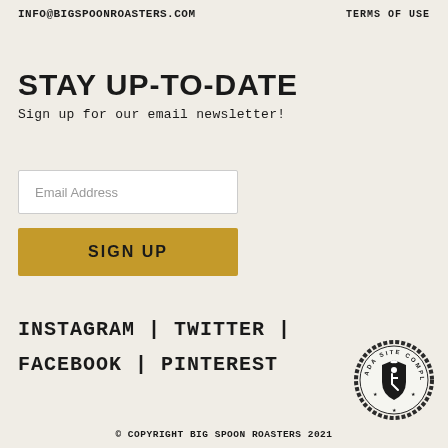INFO@BIGSPOONROASTERS.COM
TERMS OF USE
STAY UP-TO-DATE
Sign up for our email newsletter!
Email Address
SIGN UP
INSTAGRAM | TWITTER |
FACEBOOK | PINTEREST
[Figure (logo): ADA Site Compliance circular seal/badge with wheelchair accessibility symbol and eagle]
© COPYRIGHT BIG SPOON ROASTERS 2021